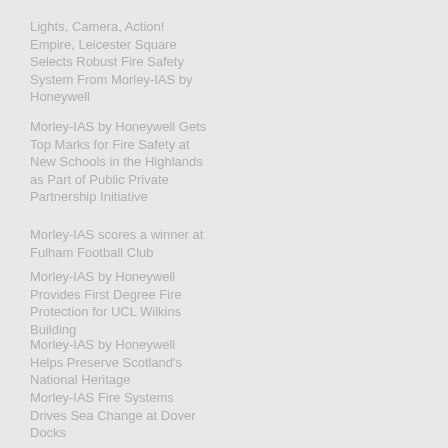Lights, Camera, Action! Empire, Leicester Square Selects Robust Fire Safety System From Morley-IAS by Honeywell
Morley-IAS by Honeywell Gets Top Marks for Fire Safety at New Schools in the Highlands as Part of Public Private Partnership Initiative
Morley-IAS scores a winner at Fulham Football Club
Morley-IAS by Honeywell Provides First Degree Fire Protection for UCL Wilkins Building
Morley-IAS by Honeywell Helps Preserve Scotland's National Heritage
Morley-IAS Fire Systems Drives Sea Change at Dover Docks
Reliable Detection in a challenging environment
Reliable Detection in a...